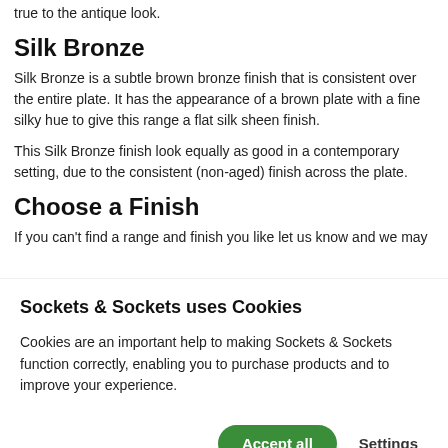true to the antique look.
Silk Bronze
Silk Bronze is a subtle brown bronze finish that is consistent over the entire plate. It has the appearance of a brown plate with a fine silky hue to give this range a flat silk sheen finish.
This Silk Bronze finish look equally as good in a contemporary setting, due to the consistent (non-aged) finish across the plate.
Choose a Finish
If you can't find a range and finish you like let us know and we may
Sockets & Sockets uses Cookies
Cookies are an important help to making Sockets & Sockets function correctly, enabling you to purchase products and to improve your experience.